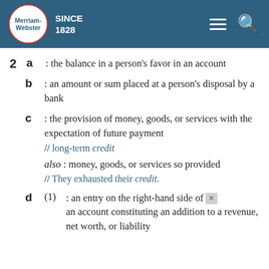[Figure (logo): Merriam-Webster logo with SINCE 1828 text in teal header bar with hamburger menu and search icons]
2 a : the balance in a person's favor in an account
b : an amount or sum placed at a person's disposal by a bank
c : the provision of money, goods, or services with the expectation of future payment // long-term credit also : money, goods, or services so provided // They exhausted their credit.
d (1) : an entry on the right-hand side of an account constituting an addition to a revenue, net worth, or liability